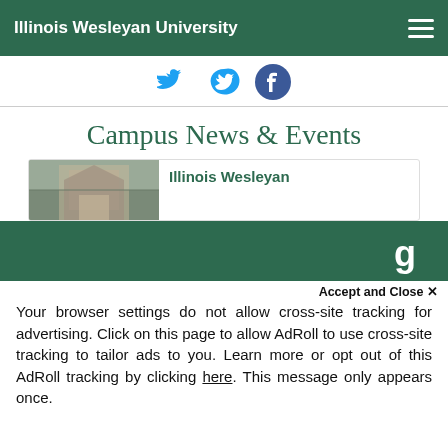Illinois Wesleyan University
[Figure (screenshot): Twitter and Facebook social media icons]
Campus News & Events
[Figure (photo): Illinois Wesleyan building photo with article card]
We use cookies to improve your experience on our website. By continuing to use our site...
Accept and Close ✕
Your browser settings do not allow cross-site tracking for advertising. Click on this page to allow AdRoll to use cross-site tracking to tailor ads to you. Learn more or opt out of this AdRoll tracking by clicking here. This message only appears once.